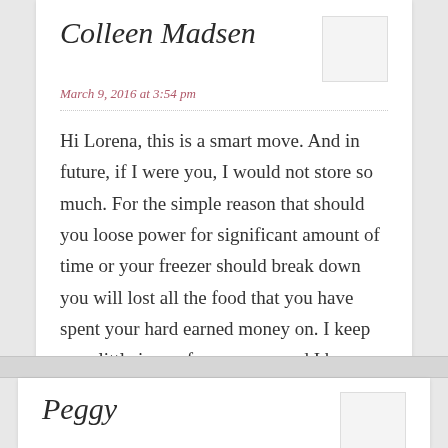Colleen Madsen
March 9, 2016 at 3:54 pm
Hi Lorena, this is a smart move. And in future, if I were you, I would not store so much. For the simple reason that should you loose power for significant amount of time or your freezer should break down you will lost all the food that you have spent your hard earned money on. I keep very little in my freezer ever and I have never gone hungry.
Peggy